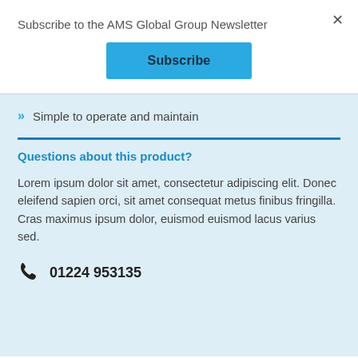Subscribe to the AMS Global Group Newsletter
Subscribe
Simple to operate and maintain
Questions about this product?
Lorem ipsum dolor sit amet, consectetur adipiscing elit. Donec eleifend sapien orci, sit amet consequat metus finibus fringilla. Cras maximus ipsum dolor, euismod euismod lacus varius sed.
01224 953135